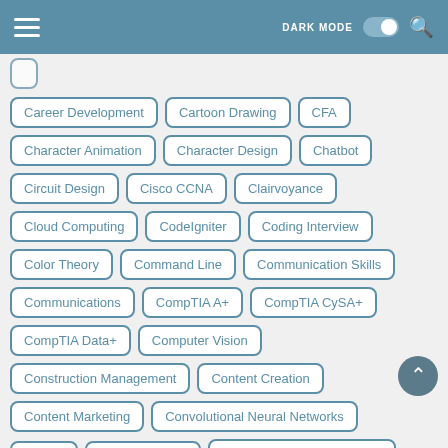DARK MODE [toggle] [search]
Career Development
Cartoon Drawing
CFA
Character Animation
Character Design
Chatbot
Circuit Design
Cisco CCNA
Clairvoyance
Cloud Computing
CodeIgniter
Coding Interview
Color Theory
Command Line
Communication Skills
Communications
CompTIA A+
CompTIA CySA+
CompTIA Data+
Computer Vision
Construction Management
Content Creation
Content Marketing
Convolutional Neural Networks
cPanel
Cryptocurrency
Cryptocurrency & Blockchain
CSS
CSS Animations
CSS Flexbox
CSS Grid